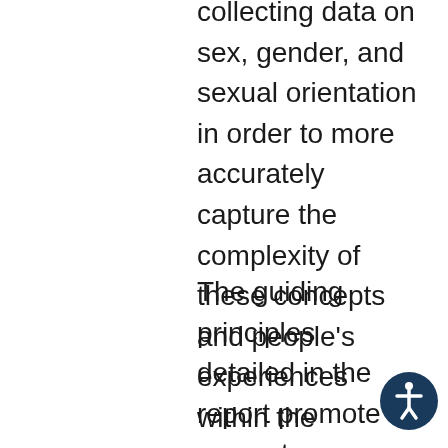for more robust practices in collecting data on sex, gender, and sexual orientation in order to more accurately capture the complexity of these concepts and people's experiences within the LGBTQI+ and other sex, gender, and sexual orientation minority populations.
The guiding principles detailed in the report promote accurate representation in data collection instruments, precise terminology, ability for people to self-identify, collection only of necessary data, and maintaining privacy and confidentiality
[Figure (illustration): Accessibility icon button — dark blue circle with white universal accessibility symbol (person with arms outstretched)]